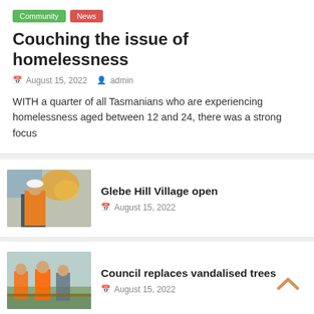Community | News
Couching the issue of homelessness
August 15, 2022   admin
WITH a quarter of all Tasmanians who are experiencing homelessness aged between 12 and 24, there was a strong focus
[Figure (photo): Man in orange hi-vis vest and white hard hat standing in front of colourful mural and construction site]
Glebe Hill Village open
August 15, 2022
[Figure (photo): Three people in orange hi-vis workwear standing in a garden area]
Council replaces vandalised trees
August 15, 2022